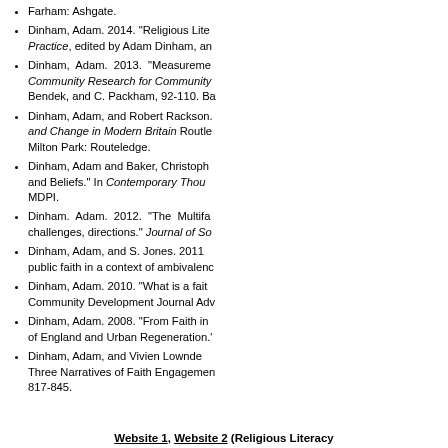Farham: Ashgate.
Dinham, Adam. 2014. "Religious Lite... Practice, edited by Adam Dinham, an...
Dinham, Adam. 2013. "Measureme... Community Research for Community... Bendek, and C. Packham, 92-110. Ba...
Dinham, Adam, and Robert Rackson.... and Change in Modern Britain Routle... Milton Park: Routeledge.
Dinham, Adam and Baker, Christoph... and Beliefs." In Contemporary Thou... MDPI.
Dinham. Adam. 2012. "The Multifa... challenges, directions." Journal of So...
Dinham, Adam, and S. Jones. 2011... public faith in a context of ambivalenc...
Dinham, Adam. 2010. "What is a fait... Community Development Journal Adv...
Dinham, Adam. 2008. "From Faith in... of England and Urban Regeneration.'
Dinham, Adam, and Vivien Lownde... Three Narratives of Faith Engagemen... 817-845.
Website 1, Website 2 (Religious Literacy...